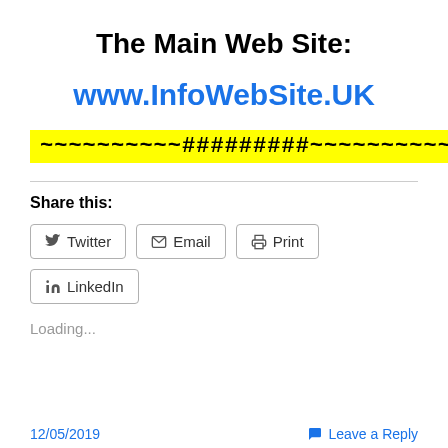The Main Web Site:
www.InfoWebSite.UK
~~~~~~~~~~#########~~~~~~~~~~
Share this:
Twitter
Email
Print
LinkedIn
Loading...
12/05/2019   Leave a Reply